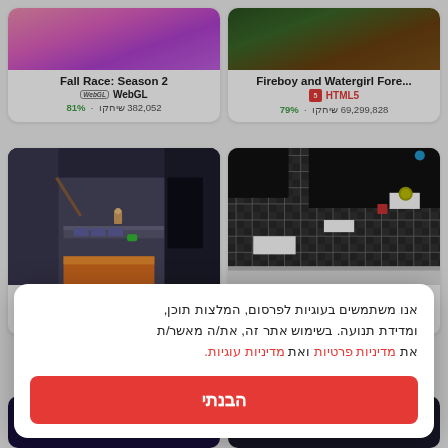[Figure (screenshot): Fall Race: Season 2 game thumbnail - pink/magenta background with game characters]
Fall Race: Season 2
WebGL
382,052 שיחקו · 81%
[Figure (screenshot): Fireboy and Watergirl Fore... game thumbnail - dark green/brown top-down view]
Fireboy and Watergirl Fore...
HTML5
69,299,828 שיחקו · 79%
[Figure (screenshot): Heroes Quest game thumbnail - dungeon platformer scene with brick walls, orange lava]
Heroes Quest
[Figure (screenshot): Jumphase game thumbnail - black and white checker platform game]
Jumphase
IL5
3%
אנו משתמשים בעוגיות לפרסום, המלצות תוכן, ומדידת תנועה. בשימוש אתר זה, את/ה מאשר/ת את מדיניות פרטיות ואת מדיניות עוגיות.
הבנתי